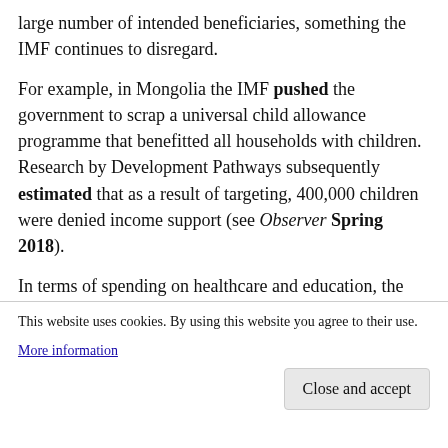large number of intended beneficiaries, something the IMF continues to disregard.
For example, in Mongolia the IMF pushed the government to scrap a universal child allowance programme that benefitted all households with children. Research by Development Pathways subsequently estimated that as a result of targeting, 400,000 children were denied income support (see Observer Spring 2018).
In terms of spending on healthcare and education, the strategy suggests that the IMF will also focus on efficiency. In practice that likely means the IMF will continue to push countries to cut their public wage bills, despite the necessity of well-trained public-sector employees to provide quality healthcare and education services. For example, the IMF has r... h... c... g...
This website uses cookies. By using this website you agree to their use.
More information
Close and accept